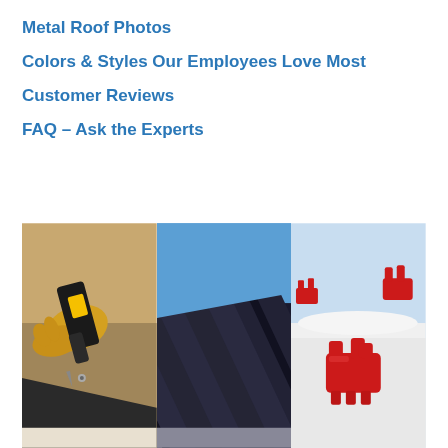Metal Roof Photos
Colors & Styles Our Employees Love Most
Customer Reviews
FAQ – Ask the Experts
[Figure (photo): Three side-by-side construction photos: a gloved hand holding a yellow DeWalt power tool on roofing material; dark metal standing seam roof panels viewed from below against blue sky; red metal snow guards/clips against white snowy background]